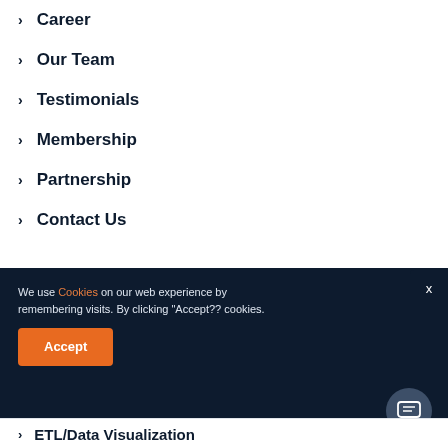Career
Our Team
Testimonials
Membership
Partnership
Contact Us
We use Cookies on our web... experience by remembering... visits. By clicking "Accept??... cookies.
Accept
[Figure (screenshot): Chat popup with logo and message: Got any questions? I'm happy to help.]
ETL/Data Visualization